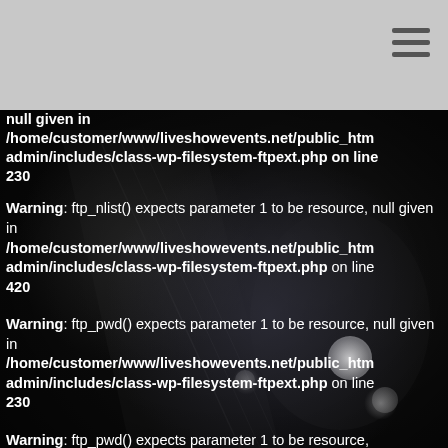[Figure (photo): Dark background with blurred guitar and bokeh lights, black and white photography]
Navigation menu bar with hamburger icon
null given in /home/customer/www/liveshowevents.net/public_html/wp-admin/includes/class-wp-filesystem-ftpext.php on line 230
Warning: ftp_nlist() expects parameter 1 to be resource, null given in /home/customer/www/liveshowevents.net/public_html/wp-admin/includes/class-wp-filesystem-ftpext.php on line 420
Warning: ftp_pwd() expects parameter 1 to be resource, null given in /home/customer/www/liveshowevents.net/public_html/wp-admin/includes/class-wp-filesystem-ftpext.php on line 230
Warning: ftp_pwd() expects parameter 1 to be resource,